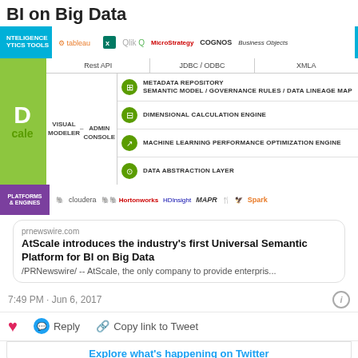BI on Big Data
[Figure (screenshot): Screenshot of AtScale Universal Semantic Platform diagram showing BI tools (Tableau, Qlik, MicroStrategy, COGNOS, Business Objects), a platform diagram with Rest API, JDBC/ODBC, XMLA connections, Visual Modeler, Admin Console, Metadata Repository, Dimensional Calculation Engine, Machine Learning Performance Optimization Engine, Data Abstraction Layer, and Platforms & Engines bar with Cloudera, Hortonworks, HDInsight, MapR, Spark logos.]
prnewswire.com
AtScale introduces the industry's first Universal Semantic Platform for BI on Big Data
/PRNewswire/ -- AtScale, the only company to provide enterpris...
7:49 PM · Jun 6, 2017
Reply   Copy link to Tweet
Explore what's happening on Twitter